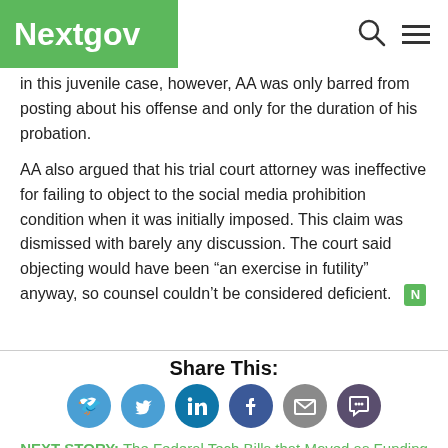Nextgov
in this juvenile case, however, AA was only barred from posting about his offense and only for the duration of his probation.
AA also argued that his trial court attorney was ineffective for failing to object to the social media prohibition condition when it was initially imposed. This claim was dismissed with barely any discussion. The court said objecting would have been “an exercise in futility” anyway, so counsel couldn’t be considered deficient.
Share This:
[Figure (infographic): Social sharing icons: Twitter, LinkedIn, Facebook, Email, Comment]
NEXT STORY: The Federal Tech Bills that Moved as Funding Legislation Stalled